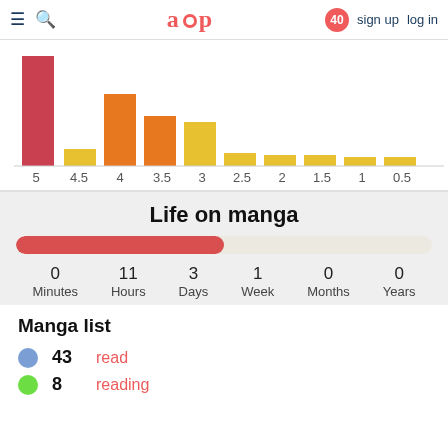aup  40  sign up  log in
[Figure (histogram): Score distribution]
Life on manga
0 Minutes  11 Hours  3 Days  1 Week  0 Months  0 Years
Manga list
43  read
8  reading